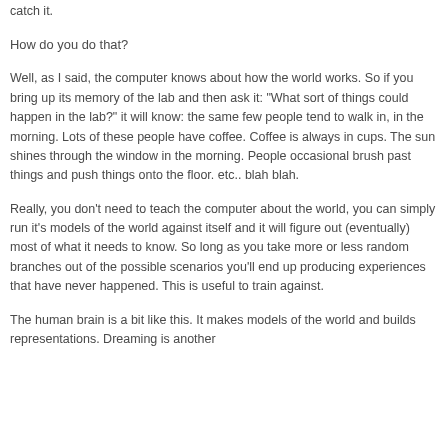catch it.
How do you do that?
Well, as I said, the computer knows about how the world works. So if you bring up its memory of the lab and then ask it: "What sort of things could happen in the lab?" it will know: the same few people tend to walk in, in the morning. Lots of these people have coffee. Coffee is always in cups. The sun shines through the window in the morning. People occasional brush past things and push things onto the floor. etc.. blah blah.
Really, you don't need to teach the computer about the world, you can simply run it's models of the world against itself and it will figure out (eventually) most of what it needs to know. So long as you take more or less random branches out of the possible scenarios you'll end up producing experiences that have never happened. This is useful to train against.
The human brain is a bit like this. It makes models of the world and builds representations. Dreaming is another